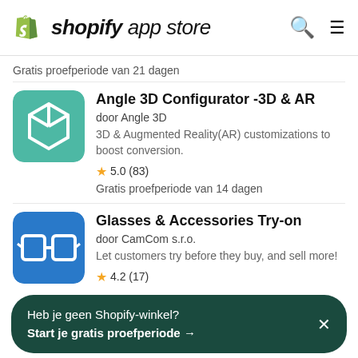shopify app store
Gratis proefperiode van 21 dagen
[Figure (logo): Angle 3D Configurator app icon — teal/green rounded square with white 3D box outline]
Angle 3D Configurator -3D & AR
door Angle 3D
3D & Augmented Reality(AR) customizations to boost conversion.
5.0 (83)
Gratis proefperiode van 14 dagen
[Figure (logo): Glasses & Accessories Try-on app icon — blue rounded square with white glasses/frames outline]
Glasses & Accessories Try-on
door CamCom s.r.o.
Let customers try before they buy, and sell more!
4.2 (17)
Heb je geen Shopify-winkel? Start je gratis proefperiode →